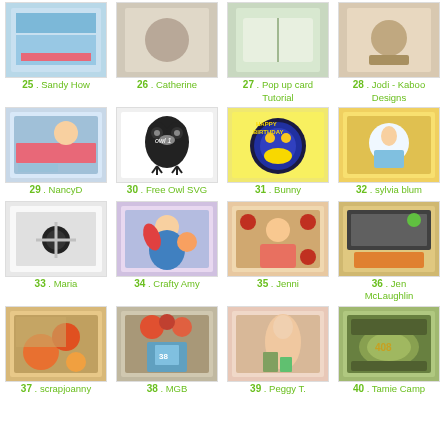25 . Sandy How
26 . Catherine
27 . Pop up card Tutorial
28 . Jodi - Kaboo Designs
[Figure (photo): Craft card thumbnail #29]
29 . NancyD
[Figure (illustration): Black owl SVG silhouette thumbnail #30]
30 . Free Owl SVG
[Figure (photo): Happy Birthday card thumbnail #31]
31 . Bunny
[Figure (photo): Card thumbnail #32]
32 . sylvia blum
[Figure (photo): White card with black flower thumbnail #33]
33 . Maria
[Figure (illustration): Crafty girl illustration thumbnail #34]
34 . Crafty Amy
[Figure (photo): Card thumbnail #35]
35 . Jenni
[Figure (photo): Card thumbnail #36]
36 . Jen McLaughlin
[Figure (photo): Floral scrapbook thumbnail #37]
37 . scrapjoanny
[Figure (photo): MGB card thumbnail #38]
38 . MGB
[Figure (photo): Peggy T card thumbnail #39]
39 . Peggy T.
[Figure (photo): Tamie Camp card thumbnail #40]
40 . Tamie Camp